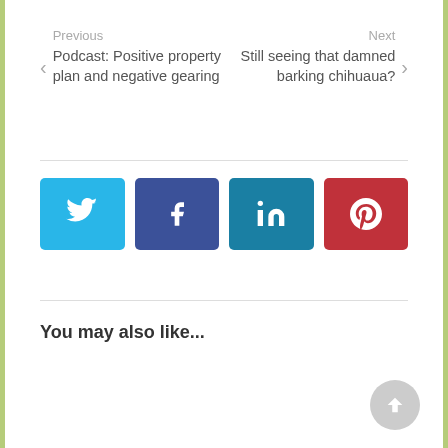Previous
Podcast: Positive property plan and negative gearing
Next
Still seeing that damned barking chihuaua?
[Figure (infographic): Four social share buttons in a row: Twitter (light blue), Facebook (dark blue/purple), LinkedIn (teal), Pinterest (red), each with their respective white icons.]
You may also like...